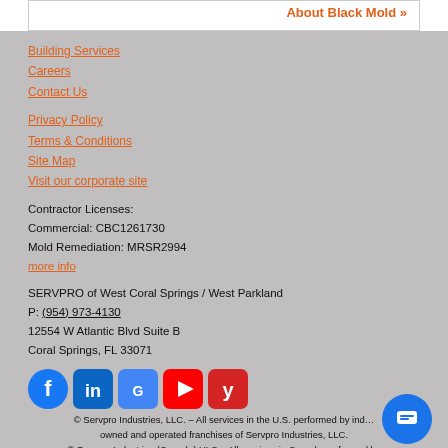About Black Mold »
Building Services
Careers
Contact Us
Privacy Policy
Terms & Conditions
Site Map
Visit our corporate site
Contractor Licenses:
Commercial: CBC1261730
Mold Remediation: MRSR2994
more info
SERVPRO of West Coral Springs / West Parkland
P: (954) 973-4130
12554 W Atlantic Blvd Suite B
Coral Springs, FL 33071
[Figure (other): Social media icons: Facebook, LinkedIn, Google, YouTube, Yelp]
© Servpro Industries, LLC. – All services in the U.S. performed by independently owned and operated franchises of Servpro Industries, LLC.
© Servpro Industries (Canada) ULC – All services in Canada performed by independently owned and operated franchises of Servpro Industries (Canada) ULC.